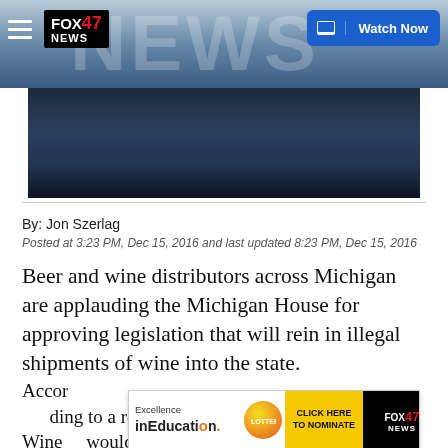FOX 47 NEWS — Watch Now
[Figure (screenshot): Dark blue atmospheric image behind article, partial news banner with FOX 47 NEWS logo and Watch Now button]
By: Jon Szerlag
Posted at 3:23 PM, Dec 15, 2016 and last updated 8:23 PM, Dec 15, 2016
Beer and wine distributors across Michigan are applauding the Michigan House for approving legislation that will rein in illegal shipments of wine into the state.
According to a release from the Michigan Beer and Wine ... would ...
[Figure (screenshot): Advertisement banner: Excellence in Education, Michigan Lottery, Click Here to Nominate, FOX 47 News]